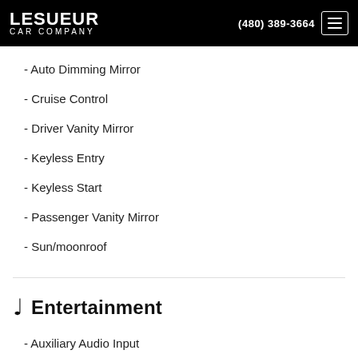LESUEUR CAR COMPANY | (480) 389-3664
- Auto Dimming Mirror
- Cruise Control
- Driver Vanity Mirror
- Keyless Entry
- Keyless Start
- Passenger Vanity Mirror
- Sun/moonroof
Entertainment
- Auxiliary Audio Input